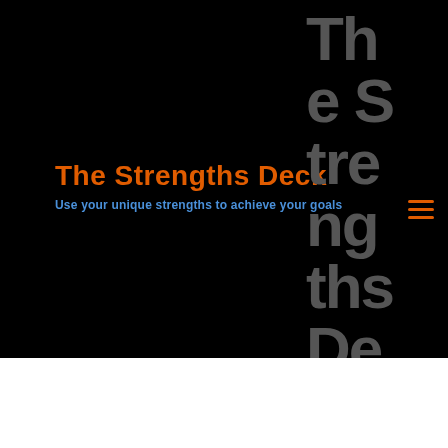The Strengths Deck
Use your unique strengths to achieve your goals
[Figure (other): Large vertical watermark text reading 'The Strengths Deck' overlaid in dark gray on black background, with hamburger menu icon in orange]
what I'm working on what I enjoy and don't enjoy. And I believe that this can help you in your business. So before we get to that, tell us a little bit about you again, and what